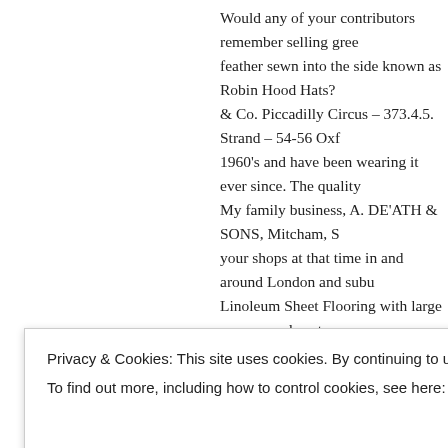Would any of your contributors remember selling green feather sewn into the side known as Robin Hood Hats? & Co. Piccadilly Circus – 373.4.5. Strand – 54-56 Oxf… 1960's and have been wearing it ever since. The quality… My family business, A. DE'ATH & SONS, Mitcham, S… your shops at that time in and around London and subu… Linoleum Sheet Flooring with large squares, colour ter… laid.
★ Liked by 1 person
Reply
Bernard Whitfield says:
December 11, 2020 at 9:18 pm
Privacy & Cookies: This site uses cookies. By continuing to use this website, you agree to their use.
To find out more, including how to control cookies, see here: Cookie Policy